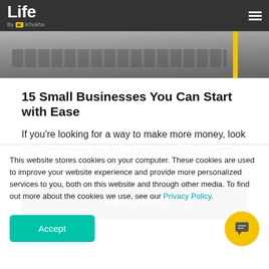Life by iK iKhokha
[Figure (photo): Partial view of a laptop keyboard, dark tones, with a yellow vertical stripe on the right side]
15 Small Businesses You Can Start with Ease
If you're looking for a way to make more money, look no further. Here are our 15 picks on small business ideas you can turn into lucrative hustles.
Read more
This website stores cookies on your computer. These cookies are used to improve your website experience and provide more personalized services to you, both on this website and through other media. To find out more about the cookies we use, see our Privacy Policy.
Accept